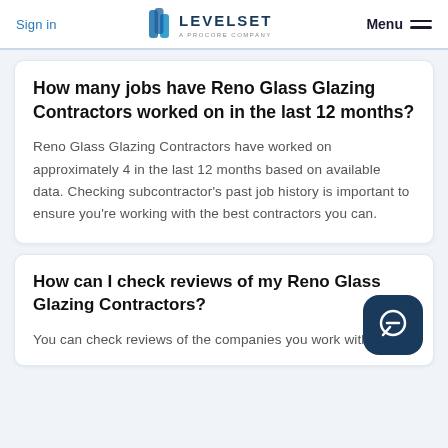Sign in | LEVELSET A PROCORE COMPANY | Menu
How many jobs have Reno Glass Glazing Contractors worked on in the last 12 months?
Reno Glass Glazing Contractors have worked on approximately 4 in the last 12 months based on available data. Checking subcontractor's past job history is important to ensure you're working with the best contractors you can.
How can I check reviews of my Reno Glass Glazing Contractors?
You can check reviews of the companies you work with on